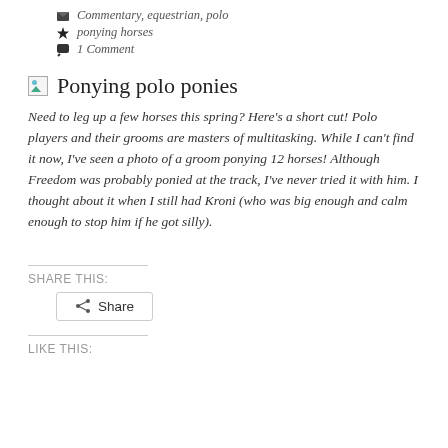Commentary, equestrian, polo
ponying horses
1 Comment
Ponying polo ponies
Need to leg up a few horses this spring? Here's a short cut! Polo players and their grooms are masters of multitasking. While I can't find it now, I've seen a photo of a groom ponying 12 horses! Although Freedom was probably ponied at the track, I've never tried it with him. I thought about it when I still had Kroni (who was big enough and calm enough to stop him if he got silly).
SHARE THIS:
Share
LIKE THIS: